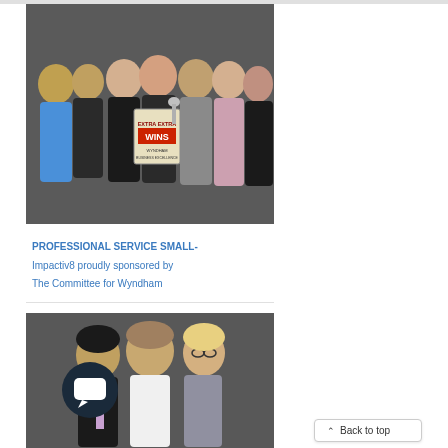[Figure (photo): Group photo of approximately 8 people posing together at an awards event. One person in the center is holding an award placard that reads 'EXTRA EXTRA WINS'. People are dressed in formal/semi-formal attire against a dark background.]
PROFESSIONAL SERVICE SMALL- Impactiv8 proudly sponsored by The Committee for Wyndham
[Figure (photo): Three people posing together: two men and one woman, against a dark background. Left man in dark suit with striped tie, center man in white shirt, right woman with blonde hair and glasses wearing a patterned top.]